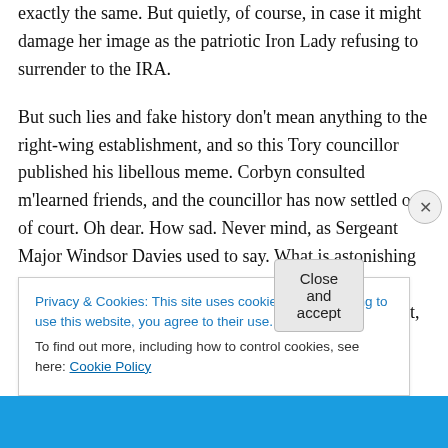exactly the same. But quietly, of course, in case it might damage her image as the patriotic Iron Lady refusing to surrender to the IRA.

But such lies and fake history don't mean anything to the right-wing establishment, and so this Tory councillor published his libellous meme. Corbyn consulted m'learned friends, and the councillor has now settled out of court. Oh dear. How sad. Never mind, as Sergeant Major Windsor Davies used to say. What is astonishing is that someone as right-wing as Belfield has taken the side of the man demonised by the right as a communist, anti-Semite and
Privacy & Cookies: This site uses cookies. By continuing to use this website, you agree to their use.
To find out more, including how to control cookies, see here: Cookie Policy